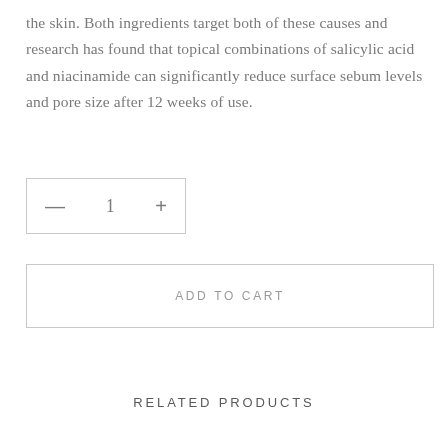the skin. Both ingredients target both of these causes and research has found that topical combinations of salicylic acid and niacinamide can significantly reduce surface sebum levels and pore size after 12 weeks of use.
— 1 +
ADD TO CART
RELATED PRODUCTS